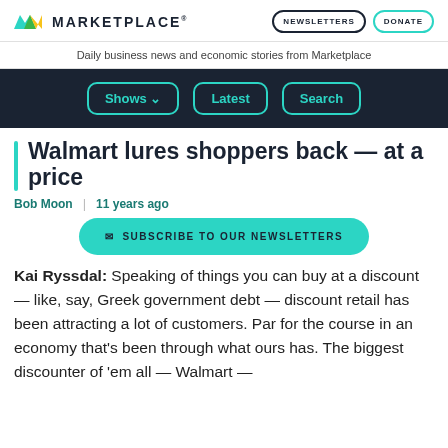MARKETPLACE
Daily business news and economic stories from Marketplace
Shows  Latest  Search
Walmart lures shoppers back — at a price
Bob Moon  |  11 years ago
SUBSCRIBE TO OUR NEWSLETTERS
Kai Ryssdal: Speaking of things you can buy at a discount — like, say, Greek government debt — discount retail has been attracting a lot of customers. Par for the course in an economy that's been through what ours has. The biggest discounter of 'em all — Walmart —